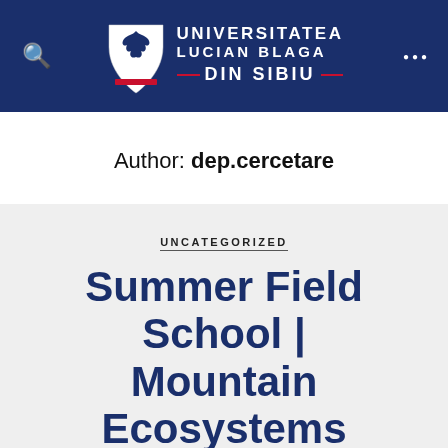UNIVERSITATEA LUCIAN BLAGA DIN SIBIU
Author: dep.cercetare
UNCATEGORIZED
Summer Field School | Mountain Ecosystems and Resource Management